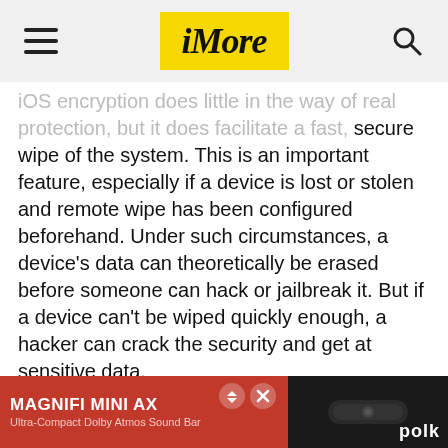iMore
iOS encryption does little in the way of real protection, but it does facilitate a fast, secure wipe of the system. This is an important feature, especially if a device is lost or stolen and remote wipe has been configured beforehand. Under such circumstances, a device's data can theoretically be erased before someone can hack or jailbreak it. But if a device can't be wiped quickly enough, a hacker can crack the security and get at sensitive data.
Enabling iOS Data Protection
That's where iOS Data Protection comes in. Data Protection is implemented at the software level and works with the hardware and firmware encryption to provide a greater degree of security.
When Data Protection is enabled, each data
[Figure (photo): Advertisement banner for MAGNIFI MINI AX - Ultra-Compact Dolby Atmos Sound Bar by Polk Audio, shown on dark background with product image]